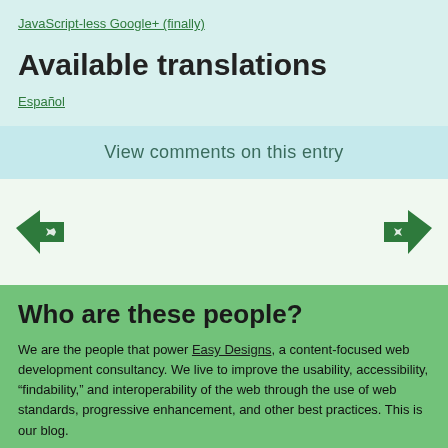JavaScript-less Google+ (finally)
Available translations
Español
View comments on this entry
[Figure (illustration): Left-pointing green arrow icon and right-pointing green arrow icon for navigation]
Who are these people?
We are the people that power Easy Designs, a content-focused web development consultancy. We live to improve the usability, accessibility, "findability," and interoperability of the web through the use of web standards, progressive enhancement, and other best practices. This is our blog.